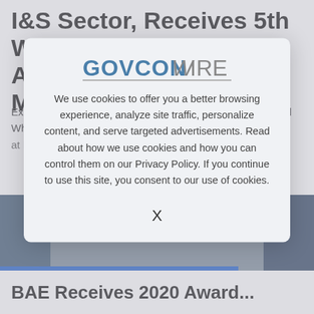I&S Sector, Receives 5th Wash100 Award From Executive Mosaic...
Executive Mosaic CEO Jim Garrettson recently presented Al Whitmore, president of the intelligence and security sector at BAE Systems, with his 2020 Wash100 award during a...
[Figure (screenshot): Background image strip showing partial photo of a person, partially obscured by modal overlay]
[Figure (logo): GovConWire logo with GOVCON in blue/gray and WIRE in italic gray, with horizontal rule beneath]
We use cookies to offer you a better browsing experience, analyze site traffic, personalize content, and serve targeted advertisements. Read about how we use cookies and how you can control them on our Privacy Policy. If you continue to use this site, you consent to our use of cookies.
X
BAE Receives 2020 Award...